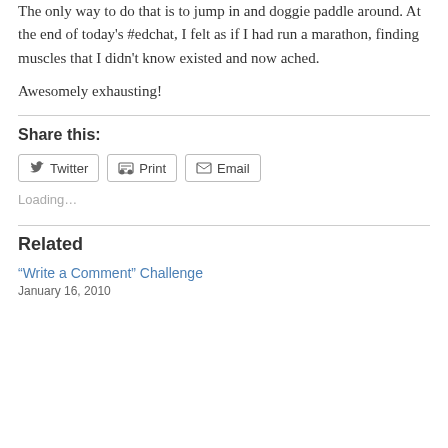The only way to do that is to jump in and doggie paddle around. At the end of today's #edchat, I felt as if I had run a marathon, finding muscles that I didn't know existed and now ached.
Awesomely exhausting!
Share this:
Loading...
Related
"Write a Comment" Challenge
January 16, 2010